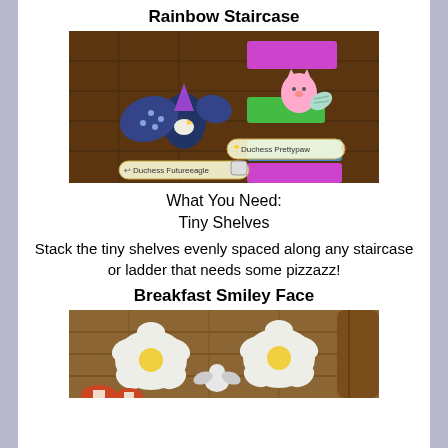Rainbow Staircase
[Figure (screenshot): In-game screenshot showing two animal characters on colorful staircase steps. A blue bird character labeled 'Duchess Futureeagle' and a pink cat character labeled 'Duchess Prettypaw' on stacked colored shelves in a wooden room.]
What You Need:
Tiny Shelves
Stack the tiny shelves evenly spaced along any staircase or ladder that needs some pizzazz!
Breakfast Smiley Face
[Figure (screenshot): In-game screenshot showing white flower-shaped items (fried egg decorations) on a wooden floor, with a small white animal character and mushrooms visible.]